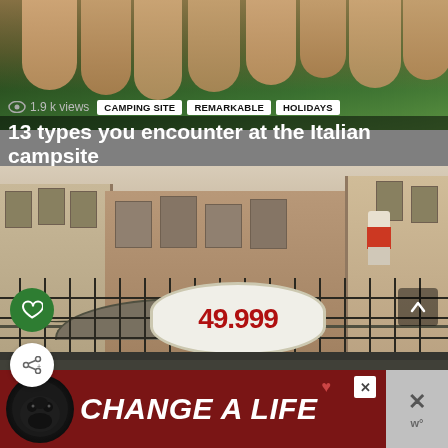[Figure (photo): Close-up of fingers against a green background, top of article thumbnail]
1.9 k views  CAMPING SITE  REMARKABLE  HOLIDAYS
13 types you encounter at the Italian campsite
[Figure (photo): Photo of a Venice canal with an ornate iron bridge, buildings, and a person in red shorts standing on the bridge. Heart/like button and share button overlaid. Price sign showing 49.999 visible at bottom. Scroll-up arrow button in top right.]
[Figure (photo): Advertisement banner: dog image with text CHANGE A LIFE in white italic bold on dark red background, with close/X buttons on right]